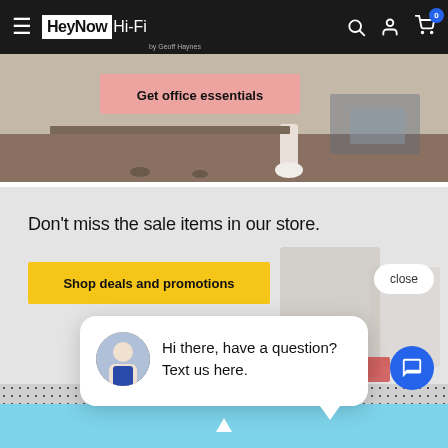[Figure (screenshot): Navigation bar with HeyNow Hi-Fi logo, hamburger menu, search icon, account icon, and cart icon with badge showing 0]
[Figure (photo): Office scene hero image with pink banner overlay reading 'Get office essentials']
Don't miss the sale items in our store.
Shop deals and promotions
close
[Figure (photo): Chat popup with avatar photo of a man and text: Hi there, have a question? Text us here.]
Hi there, have a question? Text us here.
[Figure (screenshot): Blue circular chat FAB button with message icon]